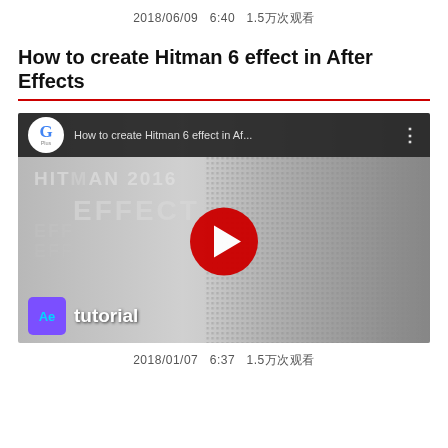2018/06/09   6:40   1.5万次观看
How to create Hitman 6 effect in After Effects
[Figure (screenshot): YouTube video thumbnail/player for 'How to create Hitman 6 effect in Af...' showing a man in suit with Hitman 2016 Effect text overlay, YouTube play button, and After Effects tutorial logo. Channel avatar with G logo shown in top bar.]
2018/01/07   6:37   1.5万次观看